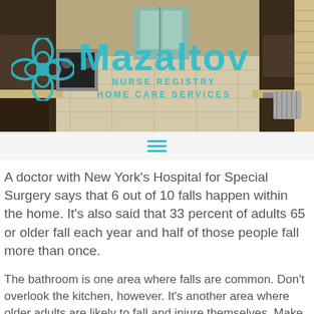[Figure (photo): Kitchen interior photo used as website header background with Mazaltov Nurse Registry Home Care Services logo overlaid in teal/cyan color]
A doctor with New York's Hospital for Special Surgery says that 6 out of 10 falls happen within the home. It's also said that 33 percent of adults 65 or older fall each year and half of those people fall more than once.
The bathroom is one area where falls are common. Don't overlook the kitchen, however. It's another area where older adults are likely to fall and injure themselves. Make